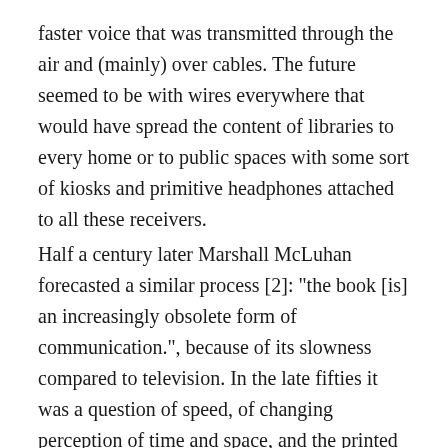faster voice that was transmitted through the air and (mainly) over cables. The future seemed to be with wires everywhere that would have spread the content of libraries to every home or to public spaces with some sort of kiosks and primitive headphones attached to all these receivers. Half a century later Marshall McLuhan forecasted a similar process [2]: "the book [is] an increasingly obsolete form of communication.", because of its slowness compared to television. In the late fifties it was a question of speed, of changing perception of time and space, and the printed medium seemed to be much too slow to diffuse and consume information. Finally, the end of paper was one of the worst prophecies in the eighties, at the beginning of the personal information